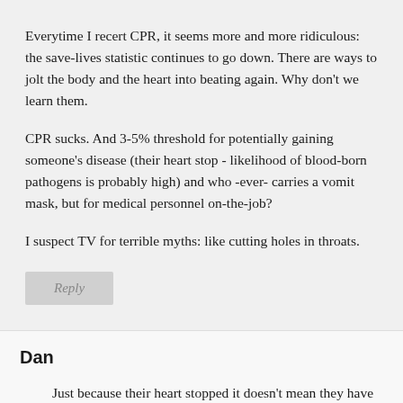Everytime I recert CPR, it seems more and more ridiculous: the save-lives statistic continues to go down. There are ways to jolt the body and the heart into beating again. Why don't we learn them.
CPR sucks. And 3-5% threshold for potentially gaining someone's disease (their heart stop - likelihood of blood-born pathogens is probably high) and who -ever- carries a vomit mask, but for medical personnel on-the-job?
I suspect TV for terrible myths: like cutting holes in throats.
Reply
Dan
Just because their heart stopped it doesn't mean they have blood borne pathogens or communicable disease. Everyday citizens should not learn how to "jolt" the heart back to life. AEDs are a simple tool that is easily learned in an emergency first aid